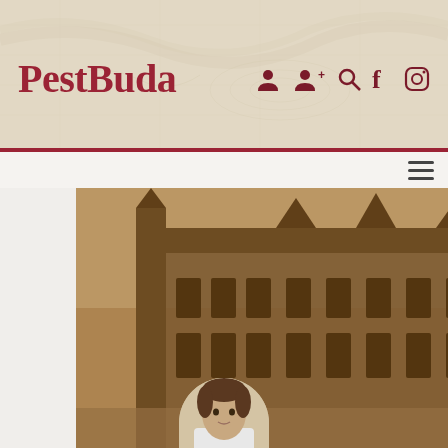PestBuda
[Figure (photo): PestBuda website header with logo text and social/navigation icons on a vintage map background]
[Figure (photo): Black and white historical photograph of Buda Castle building exterior]
How Buda Castle became a government district
Hungarian version of the article: Hogyan lett kormányzati negyed a budai Várból?
[Figure (photo): Portrait photo of article author, partially visible at bottom of page]